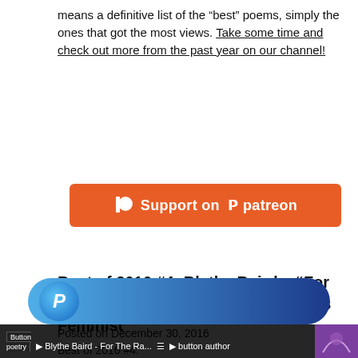means a definitive list of the “best” poems, simply the ones that got the most views. Take some time and check out more from the past year on our channel!
[Figure (other): Patreon support button - orange rounded rectangle with white text 'Support on patreon' and patreon logo icon]
Best of 2016 #4: Blythe Baird – “For the Rapists Who Called Themselves Feminist”
Posted on December 30, 2016
Best of 2016 #4:
Blythe Baird – “For the Rapists Who Called Themselves Feminist”
[Figure (screenshot): Video player thumbnail showing PayPal/payment overlay pill with blue gradient and P logo, and video bar at bottom showing 'Button Poetry | Blythe Baird - For The Ra...' with menu and button author options]